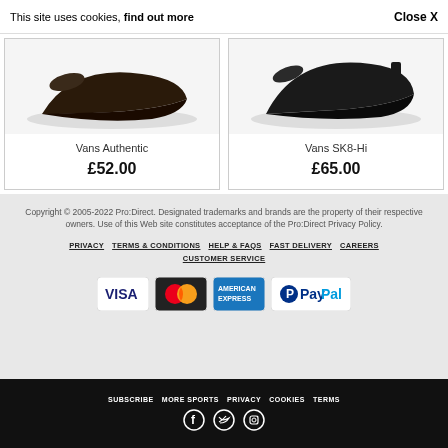This site uses cookies, find out more   Close X
Vans Authentic
£52.00
Vans SK8-Hi
£65.00
Copyright © 2005-2022 Pro:Direct. Designated trademarks and brands are the property of their respective owners. Use of this Web site constitutes acceptance of the Pro:Direct Privacy Policy.
PRIVACY   TERMS & CONDITIONS   HELP & FAQS   FAST DELIVERY   CAREERS   CUSTOMER SERVICE
[Figure (infographic): Payment method logos: Visa, Mastercard, American Express, PayPal]
SUBSCRIBE   MORE SPORTS   PRIVACY   COOKIES   TERMS
[Figure (infographic): Social media icons: Facebook, Twitter, Instagram]